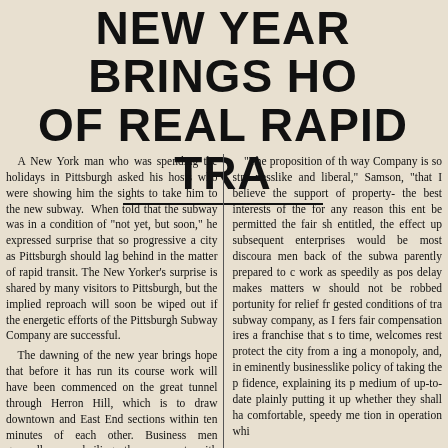NEW YEAR BRINGS HO OF REAL RAPID TRA
A New York man who was spending the holidays in Pittsburgh asked his hosts who were showing him the sights to take him to the new subway. When told that the subway was in a condition of "not yet, but soon," he expressed surprise that so progressive a city as Pittsburgh should lag behind in the matter of rapid transit. The New Yorker's surprise is shared by many visitors to Pittsburgh, but the implied reproach will soon be wiped out if the energetic efforts of the Pittsburgh Subway Company are successful.

The dawning of the new year brings hope that before it has run its course work will have been commenced on the great tunnel through Herron Hill, which is to draw downtown and East End sections within ten minutes of each other. Business men generally are hailing the prospect with enthusiasm. The numerous advantages that will accrue to all lines of business, to say nothing of the increase in the value of real estate in many localities as a result of the coming of trapid transit to Pittsburgh, are easily apparent. Speaking yesterday of the transportation problem, A. J. Kelly, pres-
"The proposition of the way Company is so stra nesslike and liberal," Samson, "that I believe the support of property- the best interests of the for any reason this ent be permitted the fair sh entitled, the effect up subsequent enterprises would be most discoura men back of the subwa parently prepared to c work as speedily as po delay makes matters w should not be robbed portunity for relief fr gested conditions of tr subway company, as I fers fair compensation ires a franchise that s to time, welcomes rest protect the city from a ing a monopoly, and, in eminently businesslike policy of taking the p fidence, explaining its medium of up-to-date plainly putting it up whether they shall ha comfortable, speedy me tion in operation whi